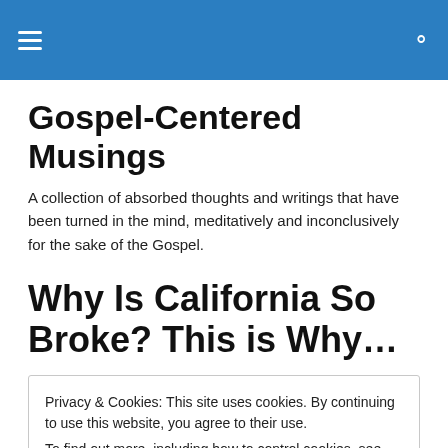Gospel-Centered Musings [site header bar with hamburger menu and search icon]
Gospel-Centered Musings
A collection of absorbed thoughts and writings that have been turned in the mind, meditatively and inconclusively for the sake of the Gospel.
Why Is California So Broke? This is Why…
Privacy & Cookies: This site uses cookies. By continuing to use this website, you agree to their use.
To find out more, including how to control cookies, see here: Cookie Policy
[Close and accept button]
OCTOBER